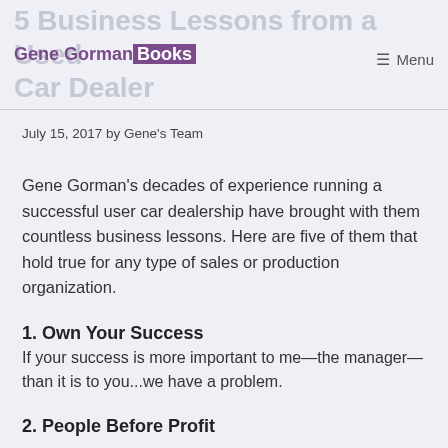5 Business Lessons from a Used Car Dealer
July 15, 2017 by Gene's Team
Gene Gorman's decades of experience running a successful user car dealership have brought with them countless business lessons. Here are five of them that hold true for any type of sales or production organization.
1. Own Your Success
If your success is more important to me—the manager—than it is to you...we have a problem.
2. People Before Profit